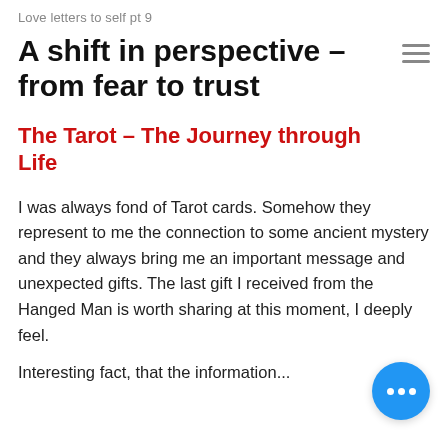Love letters to self pt 9
A shift in perspective – from fear to trust
The Tarot – The Journey through Life
I was always fond of Tarot cards. Somehow they represent to me the connection to some ancient mystery and they always bring me an important message and unexpected gifts. The last gift I received from the Hanged Man is worth sharing at this moment, I deeply feel.
Interesting fact, that the information...